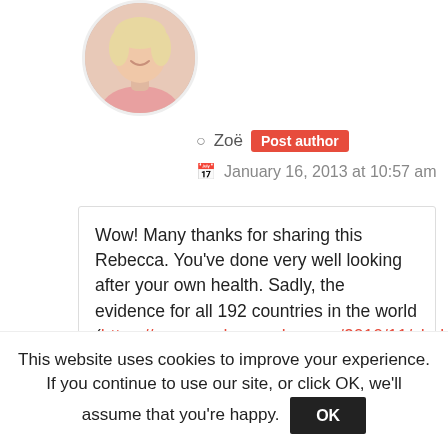[Figure (photo): Circular avatar photo of a woman with short blonde hair wearing a pink top, smiling.]
Zoë  Post author
January 16, 2013 at 10:57 am
Wow! Many thanks for sharing this Rebecca. You've done very well looking after your own health. Sadly, the evidence for all 192 countries in the world (https://www.zoeharcombe.com/2010/11/cholesterol-heart-disease-%E2%80%93-there-is-a-relationship-but-it%E2%80%99s-not-what-you-think/) suggests that your FIL now has higher
This website uses cookies to improve your experience. If you continue to use our site, or click OK, we'll assume that you're happy.  OK